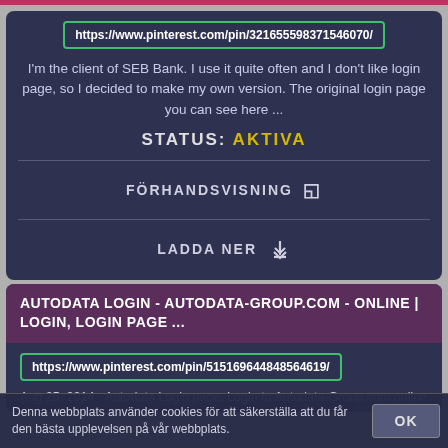https://www.pinterest.com/pin/321655598371546070/
I'm the client of SEB Bank. I use it quite often and I don't like login page, so I decided to make my own version. The original login page you can see here ...
STATUS: AKTIVA
FÖRHANDSVISNING
LADDA NER
AUTODATA LOGIN - AUTODATA-GROUP.COM - ONLINE | LOGIN, LOGIN PAGE ...
https://www.pinterest.com/pin/515169644848564619/
Aug 25, 2014 - Autodata Login page. Login to Autodata-Group.com online
Denna webbplats använder cookies för att säkerställa att du får den bästa upplevelsen på vår webbplats.